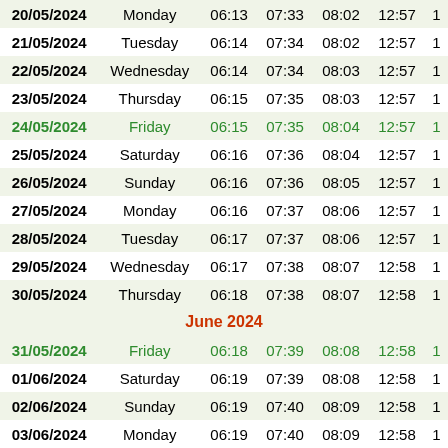| Date | Day | Col3 | Col4 | Col5 | Col6 | Col7 |
| --- | --- | --- | --- | --- | --- | --- |
| 20/05/2024 | Monday | 06:13 | 07:33 | 08:02 | 12:57 | 1 |
| 21/05/2024 | Tuesday | 06:14 | 07:34 | 08:02 | 12:57 | 1 |
| 22/05/2024 | Wednesday | 06:14 | 07:34 | 08:03 | 12:57 | 1 |
| 23/05/2024 | Thursday | 06:15 | 07:35 | 08:03 | 12:57 | 1 |
| 24/05/2024 | Friday | 06:15 | 07:35 | 08:04 | 12:57 | 1 |
| 25/05/2024 | Saturday | 06:16 | 07:36 | 08:04 | 12:57 | 1 |
| 26/05/2024 | Sunday | 06:16 | 07:36 | 08:05 | 12:57 | 1 |
| 27/05/2024 | Monday | 06:16 | 07:37 | 08:06 | 12:57 | 1 |
| 28/05/2024 | Tuesday | 06:17 | 07:37 | 08:06 | 12:57 | 1 |
| 29/05/2024 | Wednesday | 06:17 | 07:38 | 08:07 | 12:58 | 1 |
| 30/05/2024 | Thursday | 06:18 | 07:38 | 08:07 | 12:58 | 1 |
| June 2024 |  |  |  |  |  |  |
| 31/05/2024 | Friday | 06:18 | 07:39 | 08:08 | 12:58 | 1 |
| 01/06/2024 | Saturday | 06:19 | 07:39 | 08:08 | 12:58 | 1 |
| 02/06/2024 | Sunday | 06:19 | 07:40 | 08:09 | 12:58 | 1 |
| 03/06/2024 | Monday | 06:19 | 07:40 | 08:09 | 12:58 | 1 |
| 04/06/2024 | Tuesday | 06:20 | 07:41 | 08:10 | 12:58 | 1 |
| 05/06/2024 | Wednesday | 06:20 | 07:41 | 08:10 | 12:59 | 1 |